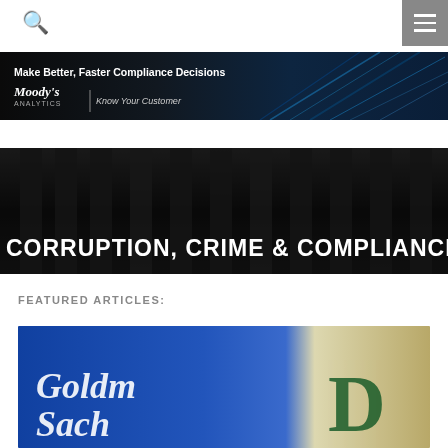Search | Menu navigation
[Figure (illustration): Moody's Analytics advertisement banner: 'Make Better, Faster Compliance Decisions' with Moody's Analytics logo and 'Know Your Customer' tagline against dark background with blue light streaks]
[Figure (photo): Hero image with classical building columns in dark monochrome style, overlaid with bold white uppercase text: CORRUPTION, CRIME & COMPLIANCE]
FEATURED ARTICLES:
[Figure (photo): Close-up photo of a Goldman Sachs blue branded item/document, with cream/yellowish paper visible in the upper right]